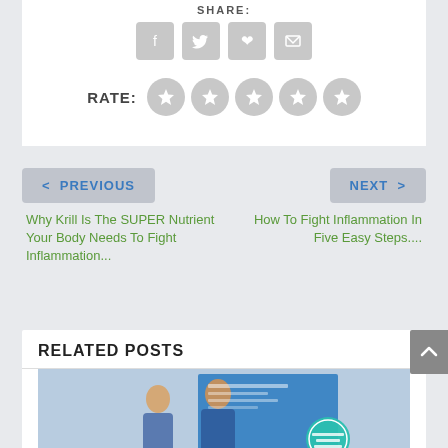SHARE:
[Figure (other): Social sharing icons: Facebook, Twitter, Pinterest, Email — grey rounded squares]
RATE:
[Figure (other): Five grey star rating circles]
< PREVIOUS
NEXT >
Why Krill Is The SUPER Nutrient Your Body Needs To Fight Inflammation...
How To Fight Inflammation In Five Easy Steps....
RELATED POSTS
[Figure (photo): Photo of elderly couple laughing and jumping, holding a blue background poster with a teal circle badge]